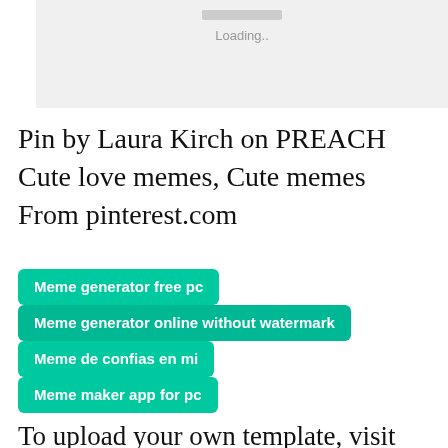[Figure (screenshot): Loading placeholder box with a grey progress bar and 'Loading..' text on a light grey background]
Pin by Laura Kirch on PREACH Cute love memes, Cute memes From pinterest.com
Meme generator free pc
Meme generator online without watermark
Meme de confias en mi
Meme maker app for pc
To upload your own template, visit the